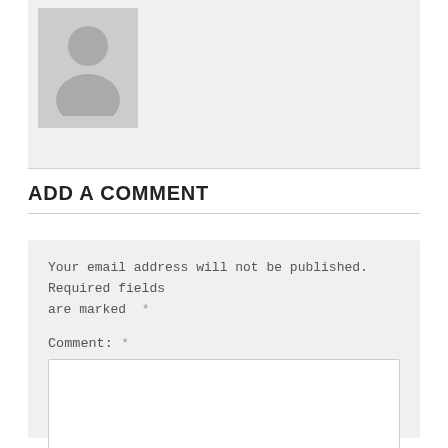[Figure (illustration): Gray placeholder card with a generic user avatar silhouette (person icon) in the upper left portion]
ADD A COMMENT
Your email address will not be published. Required fields are marked *
Comment: *
[Figure (screenshot): Empty white comment textarea input box]